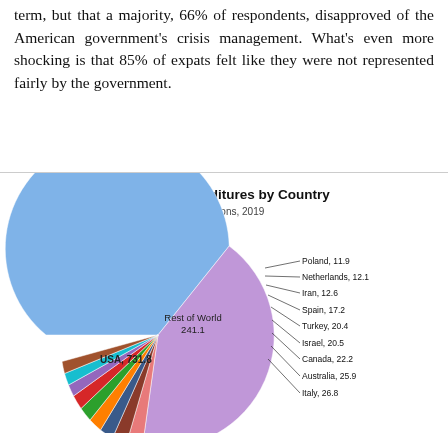term, but that a majority, 66% of respondents, disapproved of the American government's crisis management. What's even more shocking is that 85% of expats felt like they were not represented fairly by the government.
[Figure (pie-chart): Military Expenditures by Country]